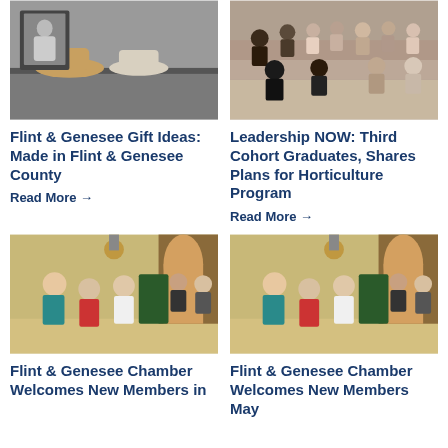[Figure (photo): Photo of hats and merchandise on a shelf, made in Flint & Genesee County products]
Flint & Genesee Gift Ideas: Made in Flint & Genesee County
Read More →
[Figure (photo): Group photo of Leadership NOW third cohort graduates on stairs]
Leadership NOW: Third Cohort Graduates, Shares Plans for Horticulture Program
Read More →
[Figure (photo): People networking at a chamber event in a hall]
Flint & Genesee Chamber Welcomes New Members in
[Figure (photo): People networking at a chamber event in a hall]
Flint & Genesee Chamber Welcomes New Members May